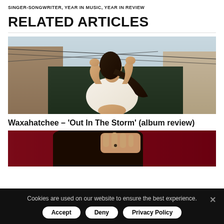SINGER-SONGWRITER, YEAR IN MUSIC, YEAR IN REVIEW
RELATED ARTICLES
[Figure (photo): A woman with long dark hair, arms raised behind her head, wearing a white shirt, standing outdoors in an urban setting with brick buildings and wire fences in the background]
Waxahatchee – 'Out In The Storm' (album review)
[Figure (photo): A person with dark hair viewed from behind, a hand with a small tattoo resting on their head, against a dark red background]
Cookies are used on our website to ensure the best experience.